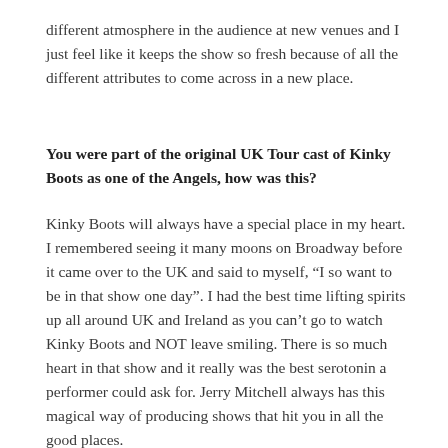different atmosphere in the audience at new venues and I just feel like it keeps the show so fresh because of all the different attributes to come across in a new place.
You were part of the original UK Tour cast of Kinky Boots as one of the Angels, how was this?
Kinky Boots will always have a special place in my heart. I remembered seeing it many moons on Broadway before it came over to the UK and said to myself, “I so want to be in that show one day”. I had the best time lifting spirits up all around UK and Ireland as you can’t go to watch Kinky Boots and NOT leave smiling. There is so much heart in that show and it really was the best serotonin a performer could ask for. Jerry Mitchell always has this magical way of producing shows that hit you in all the good places.